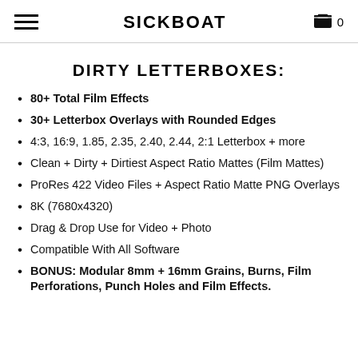SICKBOAT
DIRTY LETTERBOXES:
80+ Total Film Effects
30+ Letterbox Overlays with Rounded Edges
4:3, 16:9, 1.85, 2.35, 2.40, 2.44, 2:1 Letterbox + more
Clean + Dirty + Dirtiest Aspect Ratio Mattes (Film Mattes)
ProRes 422 Video Files + Aspect Ratio Matte PNG Overlays
8K (7680x4320)
Drag & Drop Use for Video + Photo
Compatible With All Software
BONUS: Modular 8mm + 16mm Grains, Burns, Film Perforations, Punch Holes and Film Effects.